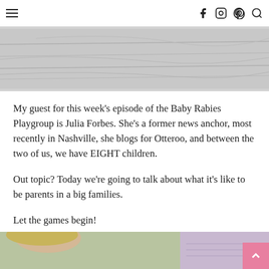≡  f  Instagram  Pinterest  Search
[Figure (photo): Partial photo of crumpled or folded light gray/white fabric or bedding, viewed from above or at an angle.]
My guest for this week's episode of the Baby Rabies Playgroup is Julia Forbes. She's a former news anchor, most recently in Nashville, she blogs for Otteroo, and between the two of us, we have EIGHT children.
Out topic? Today we're going to talk about what it's like to be parents in a big families.
Let the games begin!
[Figure (photo): Bottom portion of page showing a cropped photo of a person (blonde hair visible) on the left side and a partial image with a pink/purple background on the right side. A pink back-to-top arrow button appears at the bottom right corner.]